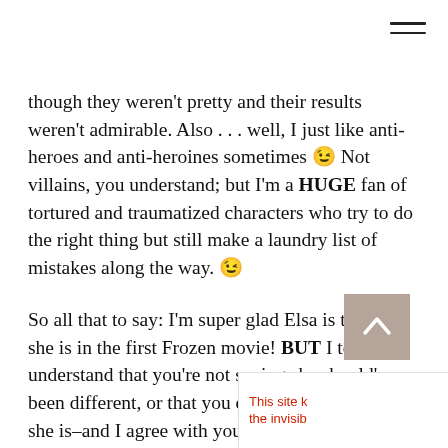though they weren't pretty and their results weren't admirable. Also . . . well, I just like anti-heroes and anti-heroines sometimes 😉 Not villains, you understand; but I'm a HUGE fan of tortured and traumatized characters who try to do the right thing but still make a laundry list of mistakes along the way. 😉
So all that to say: I'm super glad Elsa is the way she is in the first Frozen movie! BUT I totally understand that you're not saying she should've been different, or that you don't love her the way she is–and I agree with you, in that film she's not in a Good Place. So I am very, very excited to see her journey in the next movi... hope it continues to reflect my own, in moving a... from fear & pain & isolation into a place of greate... light and peace...